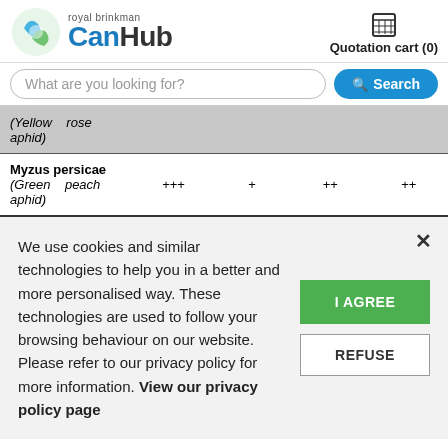[Figure (logo): Royal Brinkman CanHub logo with blue/green circular icon and text 'royal brinkman / CanHub']
Quotation cart (0)
What are you looking for?
| (Yellow rose aphid) |  |  |  |  |
| Myzus persicae (Green peach aphid) | +++ | + | ++ | ++ |
We use cookies and similar technologies to help you in a better and more personalised way. These technologies are used to follow your browsing behaviour on our website. Please refer to our privacy policy for more information. View our privacy policy page